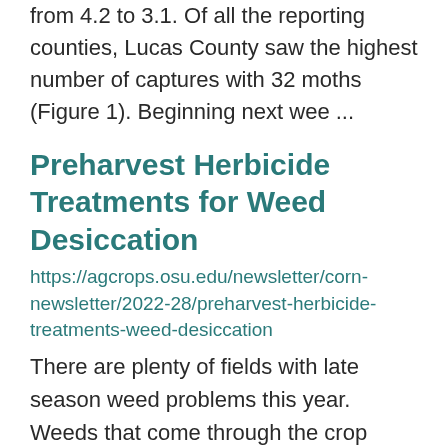from 4.2 to 3.1. Of all the reporting counties, Lucas County saw the highest number of captures with 32 moths (Figure 1). Beginning next wee ...
Preharvest Herbicide Treatments for Weed Desiccation
https://agcrops.osu.edu/newsletter/corn-newsletter/2022-28/preharvest-herbicide-treatments-weed-desiccation
There are plenty of fields with late season weed problems this year.  Weeds that come through the crop canopy late may be small or spindly or sparse enough to be handled easily by a combine.  Other fields may benefit from a preharvest herbicide ...